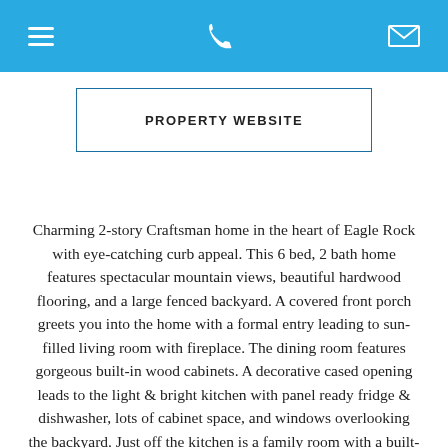[ hamburger menu ] [ phone ] [ mail ]
PROPERTY WEBSITE
Charming 2-story Craftsman home in the heart of Eagle Rock with eye-catching curb appeal. This 6 bed, 2 bath home features spectacular mountain views, beautiful hardwood flooring, and a large fenced backyard. A covered front porch greets you into the home with a formal entry leading to sun-filled living room with fireplace. The dining room features gorgeous built-in wood cabinets. A decorative cased opening leads to the light & bright kitchen with panel ready fridge & dishwasher, lots of cabinet space, and windows overlooking the backyard. Just off the kitchen is a family room with a built-in entertainment center and